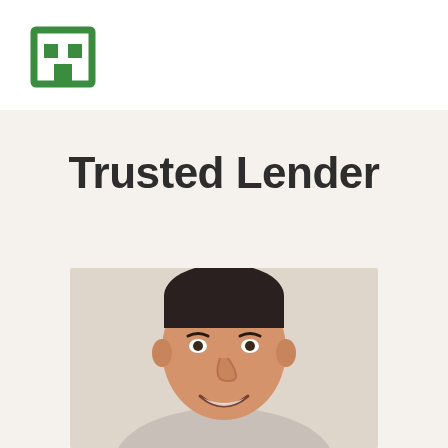[Figure (logo): Green building/house icon logo in top-left corner on white header bar]
Trusted Lender
[Figure (photo): Headshot photo of a smiling man with short dark hair against a light background]